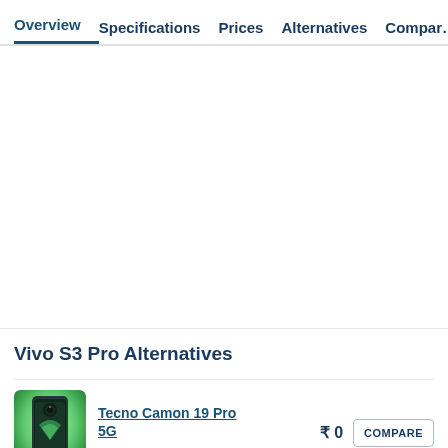Overview  Specifications  Prices  Alternatives  Compar…
Vivo S3 Pro Alternatives
[Figure (photo): Tecno Camon 19 Pro 5G smartphone product image in green color]
Tecno Camon 19 Pro 5G
₹ 0
COMPARE
● Out of Stock